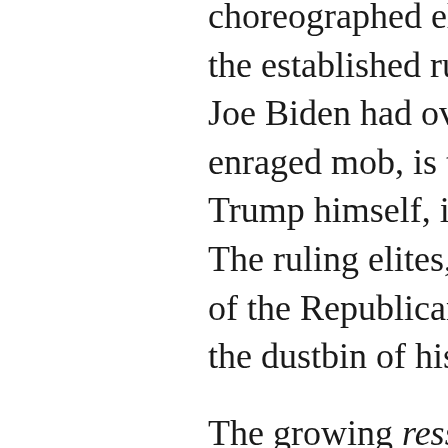choreographed elections, a the established ruling elite Joe Biden had over Trump enraged mob, is that the cr Trump himself, is, unless w The ruling elites, embodie of the Republican Party re the dustbin of history.
The growing ressentiment that has divided the public one demographic, feeding